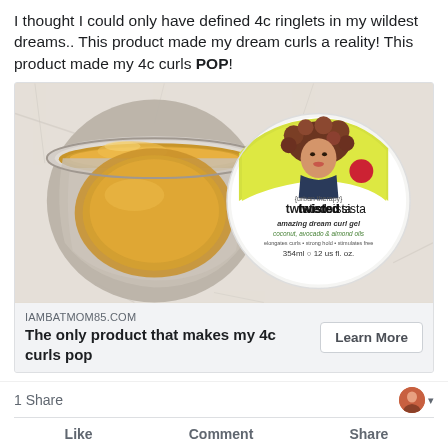I thought I could only have defined 4c ringlets in my wildest dreams.. This product made my dream curls a reality! This product made my 4c curls POP!
[Figure (photo): Photo of an open jar of Twisted Sista Amazing Dream Curl Gel showing amber/golden gel inside, alongside the product lid showing the brand logo with an illustrated woman with curly hair, yellow background, and text: {urban therapy} twisted sista, amazing dream curl gel, coconut, avocado & almond oils, elongates curls • strong hold • stimulates, 354ml 12 us fl. oz.]
IAMBATMOM85.COM
The only product that makes my 4c curls pop
1 Share
Like
Comment
Share